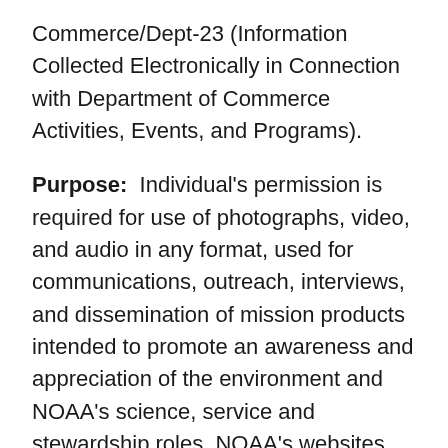Commerce/Dept-23 (Information Collected Electronically in Connection with Department of Commerce Activities, Events, and Programs).
Purpose:  Individual's permission is required for use of photographs, video, and audio in any format, used for communications, outreach, interviews, and dissemination of mission products intended to promote an awareness and appreciation of the environment and NOAA's science, service and stewardship roles. NOAA's websites and social media outlets must not collect any personal information from children under the age of 13, unless parental permission is provided in writing.
Routine Uses:  The information is used for the purpose set forth above and may be: